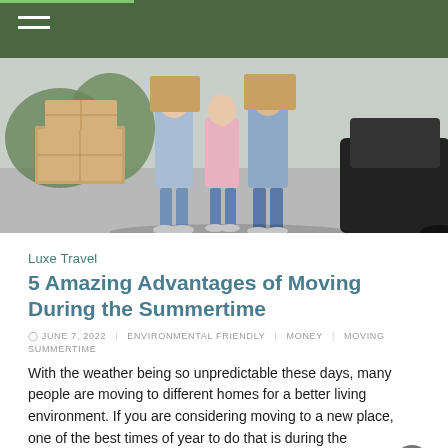[Figure (photo): Three people standing outdoors holding cardboard moving boxes, with stacked boxes on the ground and a black car visible to the right. Appears to be a moving/relocation scene.]
Luxe Travel
5 Amazing Advantages of Moving During the Summertime
JUNE 7, 2022   ENVIRONMENTAL FRIENDLY   MONEY   MOVING   SUMMERTIME
With the weather being so unpredictable these days, many people are moving to different homes for a better living environment. If you are considering moving to a new place, one of the best times of year to do that is during the summertime because there